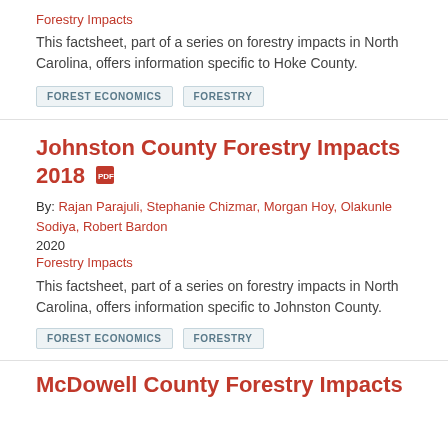Forestry Impacts
This factsheet, part of a series on forestry impacts in North Carolina, offers information specific to Hoke County.
FOREST ECONOMICS
FORESTRY
Johnston County Forestry Impacts 2018
By: Rajan Parajuli, Stephanie Chizmar, Morgan Hoy, Olakunle Sodiya, Robert Bardon
2020
Forestry Impacts
This factsheet, part of a series on forestry impacts in North Carolina, offers information specific to Johnston County.
FOREST ECONOMICS
FORESTRY
McDowell County Forestry Impacts